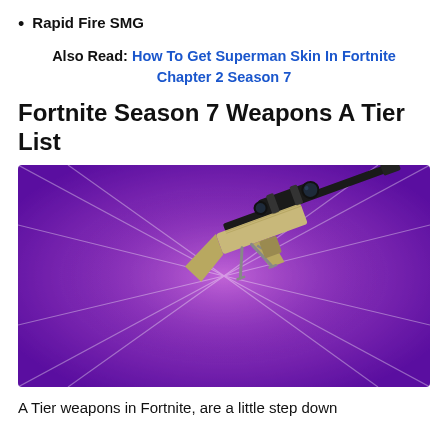Rapid Fire SMG
Also Read: How To Get Superman Skin In Fortnite Chapter 2 Season 7
Fortnite Season 7 Weapons A Tier List
[Figure (photo): Fortnite sniper rifle on a purple radial gradient background with star-burst light rays]
A Tier weapons in Fortnite, are a little step down